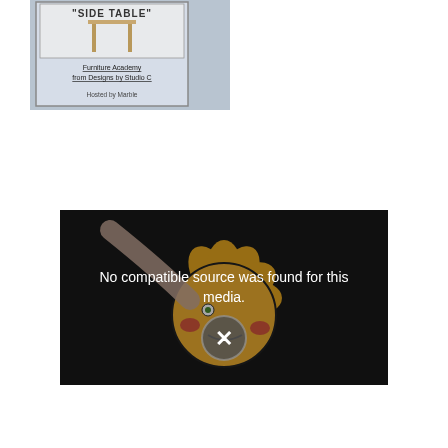[Figure (screenshot): A light blue-gray book or course cover showing a wood side table image at top, underlined text 'Furniture Academy from Designs by Studio C' in center, and 'Hosted by Marble' at bottom. A dark border surrounds the cover.]
[Figure (screenshot): A video player showing an error message 'No compatible source was found for this media.' overlaid on a colorful cartoon sun face illustration (yellow sun with red cheeks, green eye). A gray circular X/close button appears in the center of the player.]